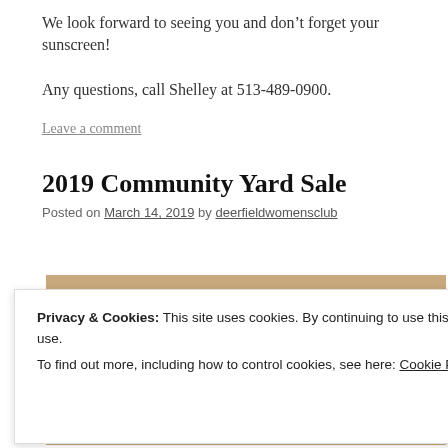We look forward to seeing you and don’t forget your sunscreen!
Any questions, call Shelley at 513-489-0900.
Leave a comment
2019 Community Yard Sale
Posted on March 14, 2019 by deerfieldwomensclub
[Figure (photo): Image related to 2019 Community Yard Sale, tan/brown background with a yard sale sign visible]
Privacy & Cookies: This site uses cookies. By continuing to use this website, you agree to their use.
To find out more, including how to control cookies, see here: Cookie Policy
Close and accept